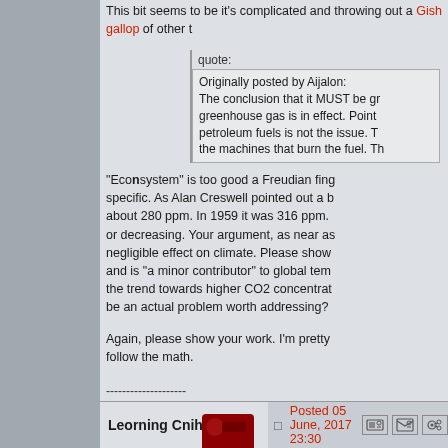This bit seems to be 'it's complicated and throwing out a Gish gallop of other t…
quote: Originally posted by Aijalon: The conclusion that it MUST be gr… greenhouse gas is in effect. Point… petroleum fuels is not the issue. T… the machines that burn the fuel. Th…
"EcoNsystem" is too good a Freudian fing… specific. As Alan Creswell pointed out a b… about 280 ppm. In 1959 it was 316 ppm. … or decreasing. Your argument, as near as… negligible effect on climate. Please show… and is "a minor contributor" to global tem… the trend towards higher CO2 concentrat… be an actual problem worth addressing?
Again, please show your work. I'm pretty … follow the math.
--------------------
Humani nil a me alienum puto
Posts: 10706 | From: Sardis, Lydia | Registered: Ma…
Leorning Cniht
Posted 05 June, 2017 23:30